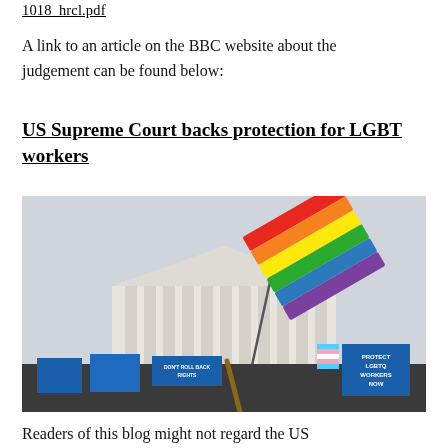1018_hrcl.pdf
A link to an article on the BBC website about the judgement can be found below:
US Supreme Court backs protection for LGBT workers
[Figure (photo): Protesters rally in front of the US Supreme Court building, one holding a large rainbow Pride flag on a pole above the crowd. Signs in the crowd read 'PROTECT LGBTQ WORKERS NOW' and 'DON'T ROLL BACK RIGHTS'.]
Readers of this blog might not regard the US Supreme Court's decision in Bostock v Clayton